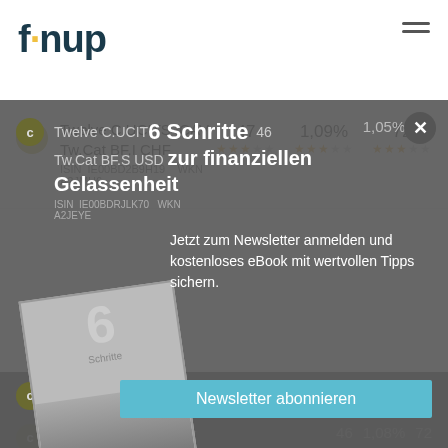fynup
Twelve C.UCITS ICAV-Tw.Cat BF.I CHF  47  1,09%  72
ISIN IE00BD2B9H19  WKN A2JMH6
[Figure (screenshot): Newsletter signup overlay modal on fynup fund comparison page showing '6 Schritte zur finanziellen Gelassenheit' eBook promotion with fund rows visible behind overlay]
6 Schritte
zur finanziellen Gelassenheit
Twelve C.UCITS ICAV- Tw.Cat BF.S USD  46  1,05%  72
ISIN IE00BDRJLK70  WKN A2JEYE
Jetzt zum Newsletter anmelden und kostenloses eBook mit wertvollen Tipps sichern.
Twelve C.UCITS ICAV- Tw.Cat BF.I USD  46  1,08%  72
ISIN IE0003D2B9... A2JEYC
Newsletter abonnieren
Twelve C.UCITS ICAV- Tw.Cat BF.I USD  46  1,07%  72
ISIN IE00BD2B9488  WKN A2JMH7